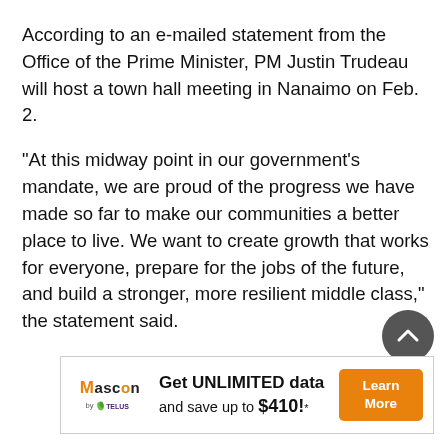According to an e-mailed statement from the Office of the Prime Minister, PM Justin Trudeau will host a town hall meeting in Nanaimo on Feb. 2.
“At this midway point in our government’s mandate, we are proud of the progress we have made so far to make our communities a better place to live. We want to create growth that works for everyone, prepare for the jobs of the future, and build a stronger, more resilient middle class,” the statement said.
[Figure (other): Advertisement banner for Mascon by TELUS: 'Get UNLIMITED data and save up to $410!*' with a Learn More button]